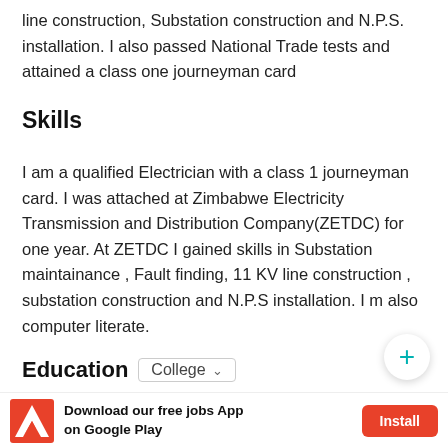line construction, Substation construction and N.P.S. installation. I also passed National Trade tests and attained a class one journeyman card
Skills
I am a qualified Electrician with a class 1 journeyman card. I was attached at Zimbabwe Electricity Transmission and Distribution Company(ZETDC) for one year. At ZETDC I gained skills in Substation maintainance , Fault finding, 11 KV line construction , substation construction and N.P.S installation. I m also computer literate.
Education
Download our free jobs App on Google Play  Install